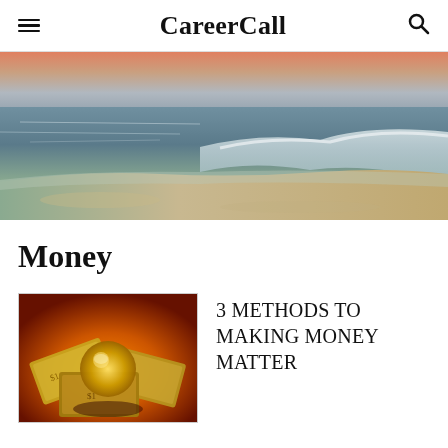CareerCall
[Figure (photo): Beach scene at sunset/dusk with ocean waves and sandy shore, warm orange and pink tones in the sky]
Money
[Figure (photo): Gold/orange image of money with glowing dollar bills and a globe or ball on orange background]
3 METHODS TO MAKING MONEY MATTER